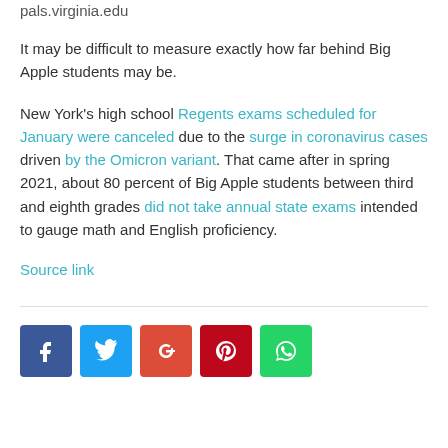pals.virginia.edu
It may be difficult to measure exactly how far behind Big Apple students may be.
New York's high school Regents exams scheduled for January were canceled due to the surge in coronavirus cases driven by the Omicron variant. That came after in spring 2021, about 80 percent of Big Apple students between third and eighth grades did not take annual state exams intended to gauge math and English proficiency.
Source link
[Figure (infographic): Social sharing buttons: Facebook, Twitter, Google+, Pinterest, WhatsApp]